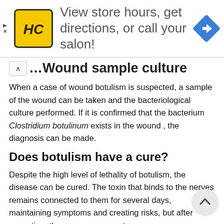[Figure (other): Advertisement banner for HC (Hair Club) salon with logo, text 'View store hours, get directions, or call your salon!' and a navigation icon]
…Wound sample culture
When a case of wound botulism is suspected, a sample of the wound can be taken and the bacteriological culture performed. If it is confirmed that the bacterium Clostridium botulinum exists in the wound , the diagnosis can be made.
Does botulism have a cure?
Despite the high level of lethality of botulism, the disease can be cured. The toxin that binds to the nerves remains connected to them for several days, maintaining symptoms and creating risks, but after some time the nerves regenerate.